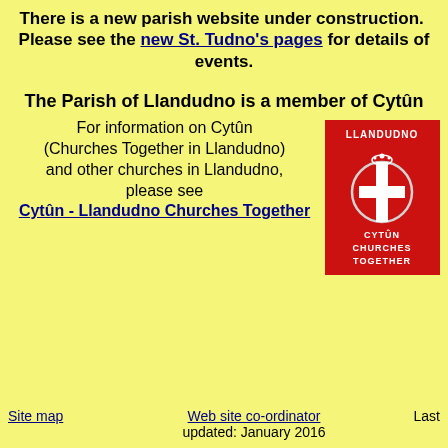There is a new parish website under construction. Please see the new St. Tudno's pages for details of events.
The Parish of Llandudno is a member of Cytûn
For information on Cytûn (Churches Together in Llandudno) and other churches in Llandudno, please see
Cytûn - Llandudno Churches Together
[Figure (photo): Red banner/flag with white cross and text reading LLANDUDNO at top and CYTÛN CHURCHES TOGETHER at bottom]
Site map    Web site co-ordinator    Last updated: January 2016